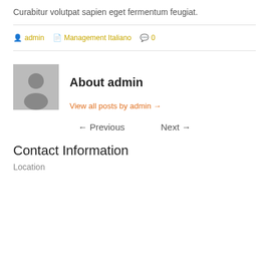Curabitur volutpat sapien eget fermentum feugiat.
admin   Management Italiano   0
About admin
View all posts by admin →
← Previous   Next →
Contact Information
Location